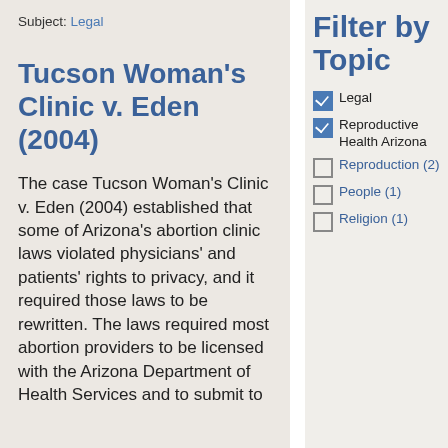Subject: Legal
Tucson Woman's Clinic v. Eden (2004)
The case Tucson Woman's Clinic v. Eden (2004) established that some of Arizona's abortion clinic laws violated physicians' and patients' rights to privacy, and it required those laws to be rewritten. The laws required most abortion providers to be licensed with the Arizona Department of Health Services and to submit to
Filter by Topic
Legal (checked)
Reproductive Health Arizona (checked)
Reproduction (2) (unchecked)
People (1) (unchecked)
Religion (1) (unchecked)